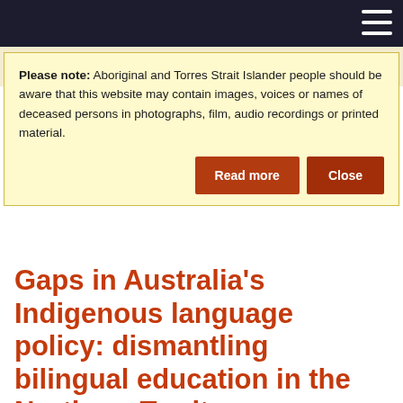[Navigation bar with hamburger menu]
Please note: Aboriginal and Torres Strait Islander people should be aware that this website may contain images, voices or names of deceased persons in photographs, film, audio recordings or printed material.
Gaps in Australia's Indigenous language policy: dismantling bilingual education in the Northern Territory